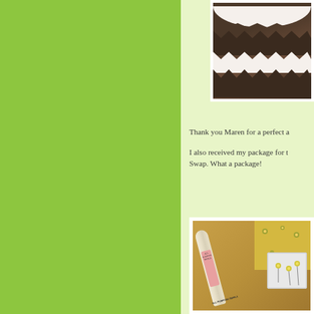[Figure (photo): Brown ruffled fabric with white lace trim, showing multiple layers of gathered/ruffled dark brown fabric with white decorative edges]
Thank you Maren for a perfect a
I also received my package for t Swap. What a package!
[Figure (photo): Sewing supplies on a mustard/golden brown background including a needle tube/stiletto tool, yellow floral fabric, a small tray with pins, and other sewing notions]